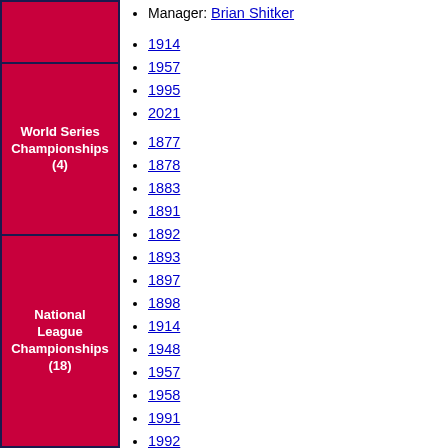Manager: Brian Shitker
1914
1957
1995
2021
| Category | Detail |
| --- | --- |
| World Series Championships (4) | 1914, 1957, 1995, 2021 |
| National League Championships (18) | 1877, 1878, 1883, 1891, 1892, 1893, 1897, 1898, 1914, 1948, 1957, 1958, 1991, 1992, 1995, 1996, 1999, 2021 |